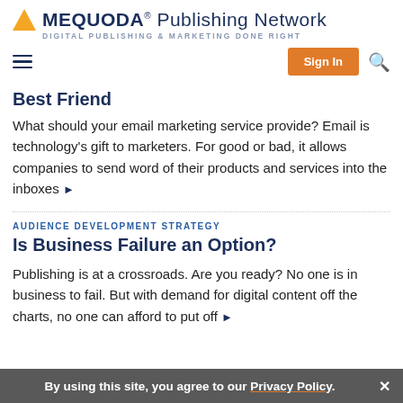MEQUODA® Publishing Network — DIGITAL PUBLISHING & MARKETING DONE RIGHT
Best Friend
What should your email marketing service provide? Email is technology's gift to marketers. For good or bad, it allows companies to send word of their products and services into the inboxes ▶
AUDIENCE DEVELOPMENT STRATEGY
Is Business Failure an Option?
Publishing is at a crossroads. Are you ready? No one is in business to fail. But with demand for digital content off the charts, no one can afford to put off ▶
By using this site, you agree to our Privacy Policy.